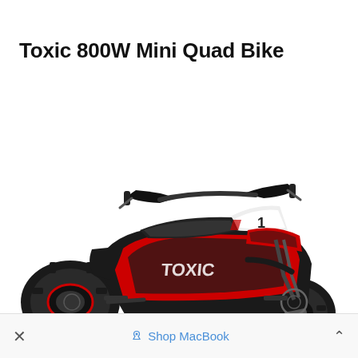Toxic 800W Mini Quad Bike
[Figure (photo): A black and red Toxic 800W Mini Quad Bike (ATV) shown in three-quarter front view against a white background. The quad bike features black bodywork with red graphic decals, black rubber tires with knobby tread, handlebar grips, a black seat, and a front number plate area.]
× Shop MacBook ^